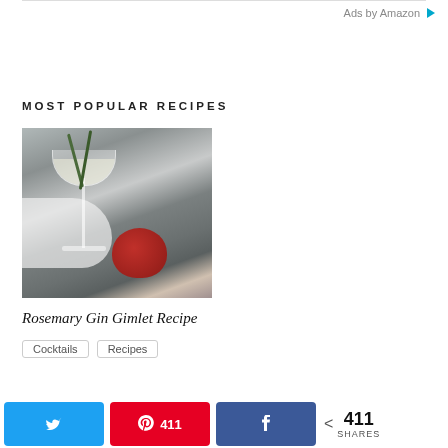Ads by Amazon
MOST POPULAR RECIPES
[Figure (photo): A rosemary gin gimlet cocktail in a coupe glass garnished with a rosemary sprig, sitting next to a cut pomegranate on a gray background with a white cloth.]
Rosemary Gin Gimlet Recipe
Cocktails
Recipes
411 SHARES